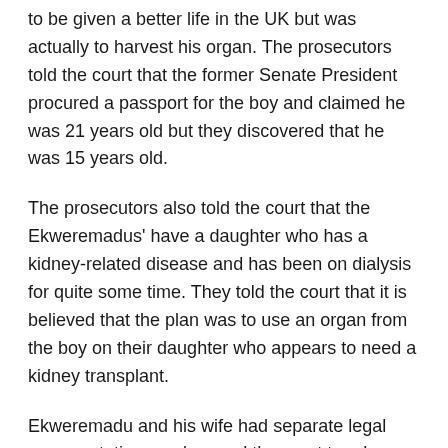to be given a better life in the UK but was actually to harvest his organ. The prosecutors told the court that the former Senate President procured a passport for the boy and claimed he was 21 years old but they discovered that he was 15 years old.
The prosecutors also told the court that the Ekweremadus' have a daughter who has a kidney-related disease and has been on dialysis for quite some time. They told the court that it is believed that the plan was to use an organ from the boy on their daughter who appears to need a kidney transplant.
Ekweremadu and his wife had separate legal representations and prayed the court to release them on bail but their prayer was however dismissed by the Magistrate. The couple has surrendered their passports to the UK government.